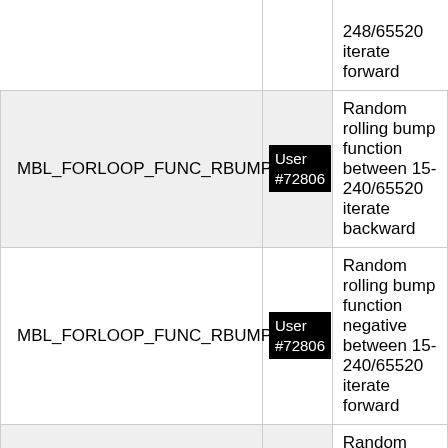| Function Name | User | Description |
| --- | --- | --- |
|  |  | 248/65520 iterate forward |
| MBL_FORLOOP_FUNC_RBUMP2 | User #72806 | Random rolling bump function between 15-240/65520 iterate backward |
| MBL_FORLOOP_FUNC_RBUMP3 | User #72806 | Random rolling bump function negative between 15-240/65520 iterate forward |
|  | User | Random rolling bump function |